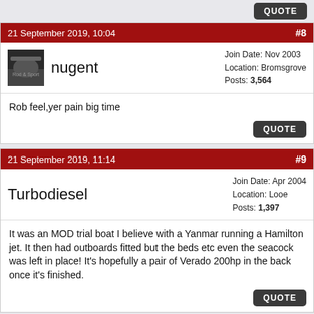QUOTE
21 September 2019, 10:04  #8
nugent
Join Date: Nov 2003
Location: Bromsgrove
Posts: 3,564
Rob feel,yer pain big time
QUOTE
21 September 2019, 11:14  #9
Turbodiesel
Join Date: Apr 2004
Location: Looe
Posts: 1,397
It was an MOD trial boat I believe with a Yanmar running a Hamilton jet. It then had outboards fitted but the beds etc even the seacock was left in place! It's hopefully a pair of Verado 200hp in the back once it's finished.
QUOTE